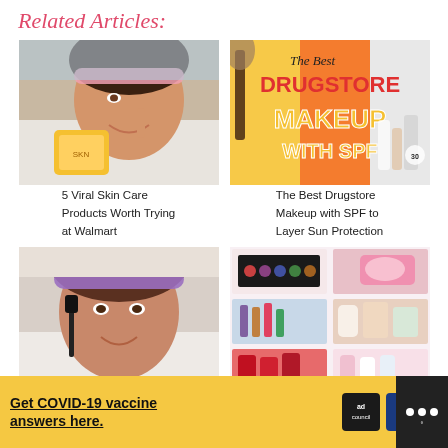Related Articles:
[Figure (photo): Woman applying skincare product to face, holding yellow container]
[Figure (photo): The Best Drugstore Makeup with SPF promotional image with cosmetics products]
5 Viral Skin Care Products Worth Trying at Walmart
The Best Drugstore Makeup with SPF to Layer Sun Protection
[Figure (photo): Woman applying mascara with headband]
[Figure (photo): Collage of beauty and makeup products]
Get COVID-19 vaccine answers here.